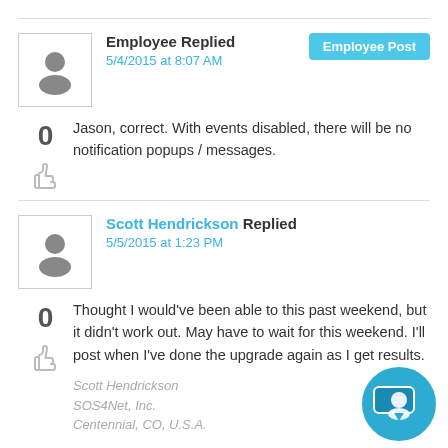Employee Replied — 5/4/2015 at 8:07 AM — Employee Post
Jason, correct. With events disabled, there will be no notification popups / messages.
Scott Hendrickson Replied — 5/5/2015 at 1:23 PM
Thought I would've been able to this past weekend, but it didn't work out.  May have to wait for this weekend.  I'll post when I've done the upgrade again as I get results.
Scott Hendrickson
SOS4Net, Inc.
Centennial, CO, U.S.A.